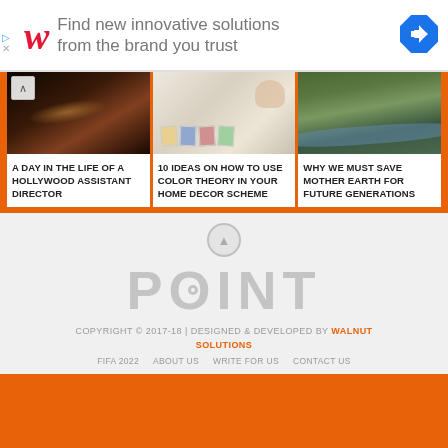[Figure (screenshot): Walgreens advertisement banner: W logo in red italic, text 'Find new innovative solutions from the brand you trust', blue diamond arrow icon on right]
[Figure (photo): Three article thumbnail images side by side: dark cinematic scene, hand over color swatches, aerial river/forest scene]
A DAY IN THE LIFE OF A HOLLYWOOD ASSISTANT DIRECTOR
10 IDEAS ON HOW TO USE COLOR THEORY IN YOUR HOME DECOR SCHEME
WHY WE MUST SAVE MOTHER EARTH FOR FUTURE GENERATIONS
[Figure (logo): POINT website logo in large grey letters]
COPYRIGHT © 2017-18 | DESIGNED & DEVELOPED BY WALNUT SOLUTIONS
FIFA 2022   ABOUT US   WRITE FOR US   CONTACT US